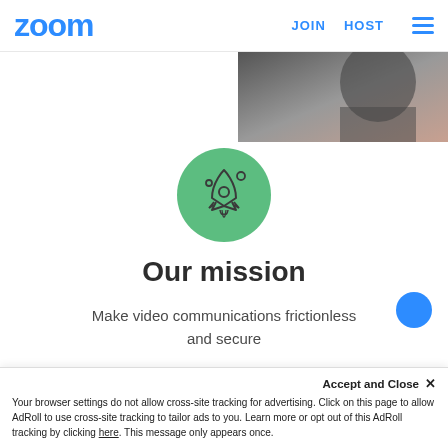zoom  JOIN  HOST
[Figure (photo): Partial view of a person in the upper right corner, cropped photo]
[Figure (illustration): Green circle with white rocket ship icon and small dots/circles]
Our mission
Make video communications frictionless and secure
Accept and Close ×
Your browser settings do not allow cross-site tracking for advertising. Click on this page to allow AdRoll to use cross-site tracking to tailor ads to you. Learn more or opt out of this AdRoll tracking by clicking here. This message only appears once.